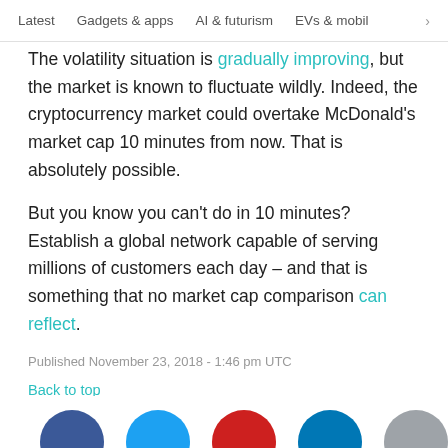Latest   Gadgets & apps   AI & futurism   EVs & mobil  >
The volatility situation is gradually improving, but the market is known to fluctuate wildly. Indeed, the cryptocurrency market could overtake McDonald's market cap 10 minutes from now. That is absolutely possible.
But you know you can't do in 10 minutes? Establish a global network capable of serving millions of customers each day – and that is something that no market cap comparison can reflect.
Published November 23, 2018 - 1:46 pm UTC
Back to top
[Figure (illustration): Row of social media share buttons (circles): Facebook blue, Twitter blue, Reddit red, and others partially visible]